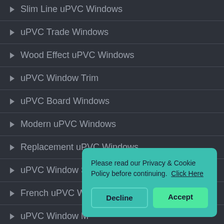Slim Line uPVC Windows
uPVC Trade Windows
Wood Effect uPVC Windows
uPVC Window Trim
uPVC Board Windows
Modern uPVC Windows
Replacement uPVC Windows
uPVC Window Supplier
French uPVC W…
uPVC Window M…
uPVC Window Si…
[Figure (screenshot): Cookie consent popup with text 'Please read our Privacy & Cookie Policy before continuing. Click Here' and two buttons: Decline and Accept]